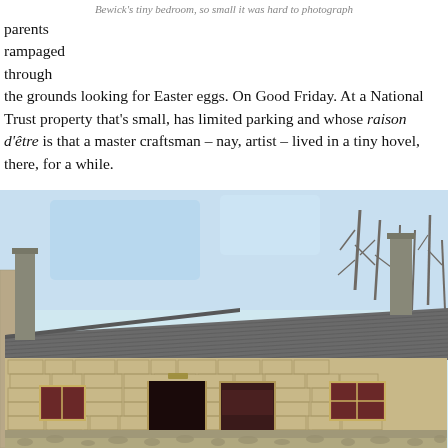Bewick's tiny bedroom, so small it was hard to photograph
parents rampaged through the grounds looking for Easter eggs. On Good Friday. At a National Trust property that's small, has limited parking and whose raison d'être is that a master craftsman – nay, artist – lived in a tiny hovel, there, for a while.
[Figure (photo): Exterior photograph of a small stone cottage/workshop building with a slate roof, two doorways, two small windows, bare trees in the background, cobblestone forecourt. Likely Bewick's workshop at Cherryburn, Northumberland.]